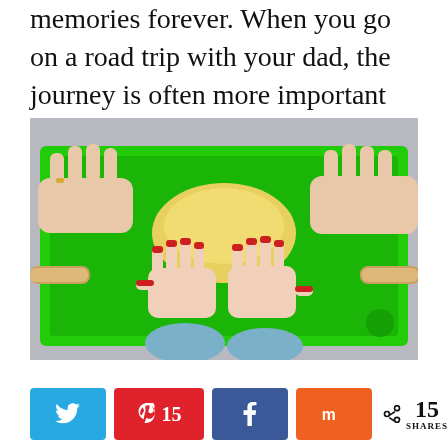memories forever. When you go on a road trip with your dad, the journey is often more important than the destination.
[Figure (photo): Overhead view of adult hands and a child's hands (with red nail polish) working with yellow dough on a bright green cutting board with a rolling pin]
< 15 SHARES (with Twitter, Pinterest 15, Facebook, Mix share buttons)